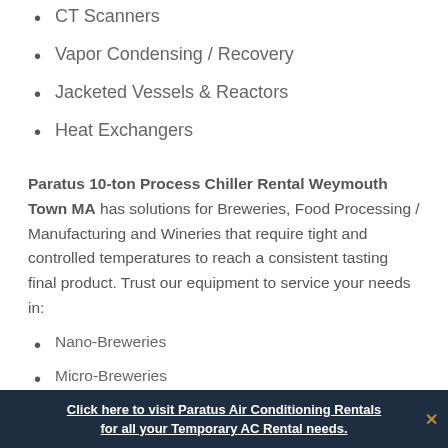CT Scanners
Vapor Condensing / Recovery
Jacketed Vessels & Reactors
Heat Exchangers
Paratus 10-ton Process Chiller Rental Weymouth Town MA has solutions for Breweries, Food Processing / Manufacturing and Wineries that require tight and controlled temperatures to reach a consistent tasting final product. Trust our equipment to service your needs in:
Nano-Breweries
Micro-Breweries
Large Scale Industrial Breweries
Click here to visit Paratus Air Conditioning Rentals for all your Temporary AC Rental needs.